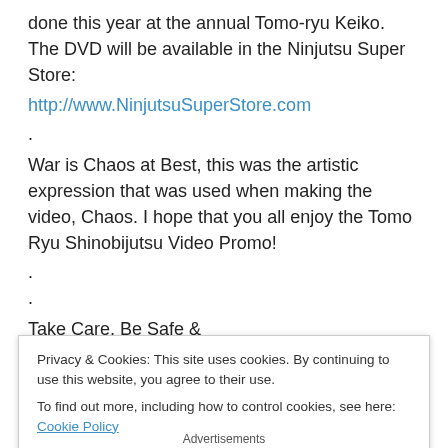done this year at the annual Tomo-ryu Keiko. The DVD will be available in the Ninjutsu Super Store:
http://www.NinjutsuSuperStore.com
.
War is Chaos at Best, this was the artistic expression that was used when making the video, Chaos. I hope that you all enjoy the Tomo Ryu Shinobijutsu Video Promo!
.
.
Take Care, Be Safe &
Good Luck in your journey of Budo
Privacy & Cookies: This site uses cookies. By continuing to use this website, you agree to their use.
To find out more, including how to control cookies, see here: Cookie Policy
Close and accept
Advertisements